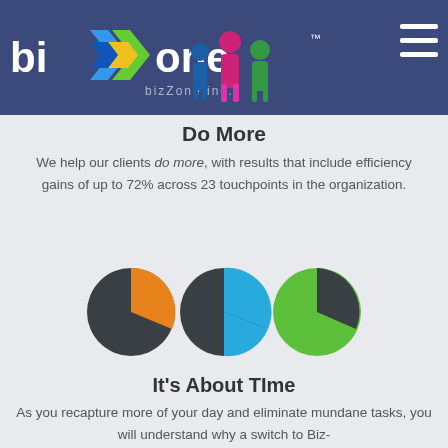[Figure (logo): bizZone inc. logo with colorful arrow/chevron icon in blue, green, yellow colors, on dark blue header background. Three human figure icons (blue, pink/magenta, green) visible in center-right of header.]
Do More
We help our clients do more, with results that include efficiency gains of up to 72% across 23 touchpoints in the organization.
[Figure (pie-chart): Three pie charts side by side. Left: dark gray with small orange slice (~15%). Center: dark gray with large blue slice (~40%). Right: large green slice (~80%) with small dark gray slice.]
It's About TIme
As you recapture more of your day and eliminate mundane tasks, you will understand why a switch to Biz-